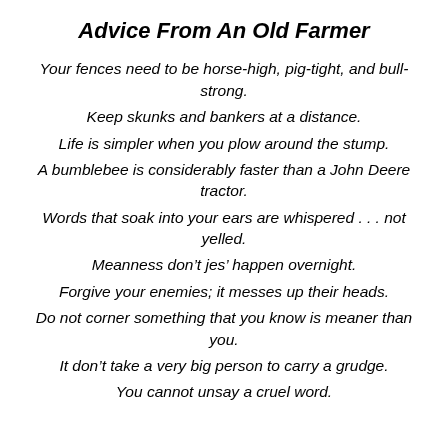Advice From An Old Farmer
Your fences need to be horse-high, pig-tight, and bull-strong.
Keep skunks and bankers at a distance.
Life is simpler when you plow around the stump.
A bumblebee is considerably faster than a John Deere tractor.
Words that soak into your ears are whispered . . . not yelled.
Meanness don’t jes’ happen overnight.
Forgive your enemies; it messes up their heads.
Do not corner something that you know is meaner than you.
It don’t take a very big person to carry a grudge.
You cannot unsay a cruel word.